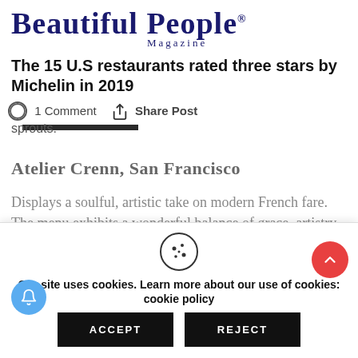BEAUTIFUL PEOPLE® Magazine
The 15 U.S restaurants rated three stars by Michelin in 2019
1 Comment  Share Post
sprouts.
Atelier Crenn, San Francisco
Displays a soulful, artistic take on modern French fare. The menu exhibits a wonderful balance of grace, artistry, technical ability and taste.
Our site uses cookies. Learn more about our use of cookies: cookie policy
ACCEPT
REJECT